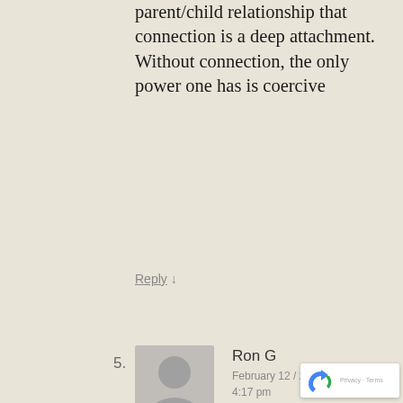parent/child relationship that connection is a deep attachment. Without connection, the only power one has is coercive
Reply ↓
5.
[Figure (illustration): Default grey avatar silhouette icon for commenter Ron G]
Ron G
February 12 / 2012 at 4:17 pm
"I learned that while I have immense ease in accessing a clear vision about the world I see as possible, I have not had a goal. Thinking so starkly in the long nights, it became evident to me that I